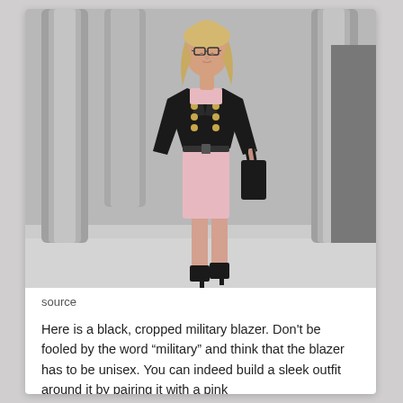[Figure (photo): A woman walking outdoors near classical stone columns, wearing a black cropped military-style blazer over a pink fitted dress, holding a black wristlet clutch, wearing glasses and black heeled sandals.]
source
Here is a black, cropped military blazer. Don't be fooled by the word “military” and think that the blazer has to be unisex. You can indeed build a sleek outfit around it by pairing it with a pink